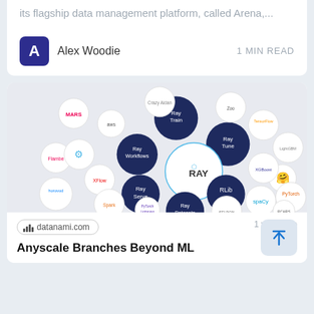its flagship data management platform, called Arena,...
[Figure (illustration): Author avatar: dark blue square with white letter A]
Alex Woodie
1 MIN READ
[Figure (infographic): Ray ecosystem diagram showing RAY at center with surrounding components: Ray Train, Ray Tune, Ray Serve, Ray Datasets, Ray Workflows, RLib, and various integrated tools/logos including MARS, AWS, Flambe, XGBoost, horovod, Spark, PyTorch, spaCy, SELDON, LightGBM, Crazy Aidan, and others on a light gray background with dark navy circles for Ray components and white circles for integrations.]
datanami.com
1 week ago
Anyscale Branches Beyond ML